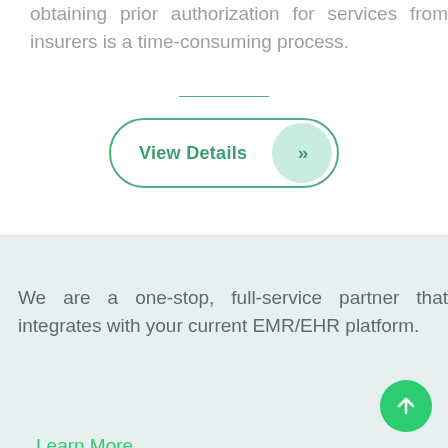obtaining prior authorization for services from insurers is a time-consuming process.
[Figure (other): View Details button with rounded border and arrow circle indicator]
We are a one-stop, full-service partner that integrates with your current EMR/EHR platform.
Learn More
[Figure (other): Green circular scroll-to-top button with upward arrow]